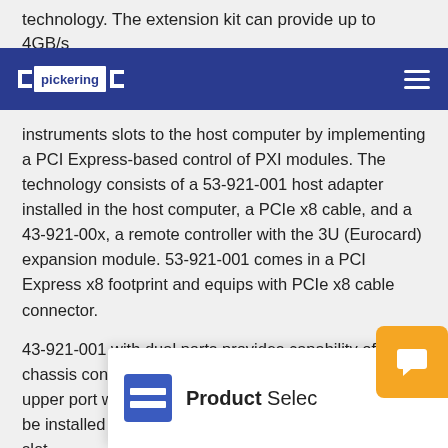technology. The extension kit can provide up to 4GB/s
pickering (navigation bar)
instruments slots to the host computer by implementing a PCI Express-based control of PXI modules. The technology consists of a 53-921-001 host adapter installed in the host computer, a PCIe x8 cable, and a 43-921-00x, a remote controller with the 3U (Eurocard) expansion module. 53-921-001 comes in a PCI Express x8 footprint and equips with PCIe x8 cable connector.
43-921-001 with dual ports provides capability of multi-chassis control as a daisy-chain configuration. The upper port would be connected to a 53-921-001 which be installed in a host PC an connected to a 43-921-0 slot.
[Figure (screenshot): Product Selector popup overlay with icon and orange chat bubble]